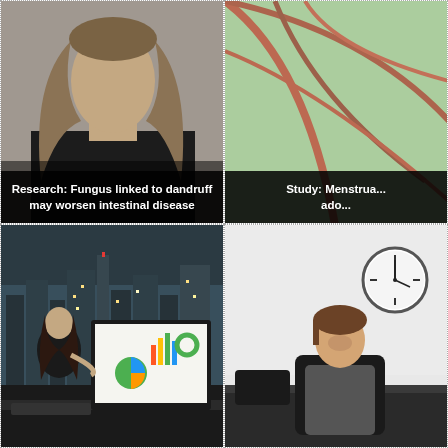[Figure (photo): Woman with long hair, dark top, face partially hidden by hair, gray background - associated with dandruff/fungus research]
Research: Fungus linked to dandruff may worsen intestinal disease
[Figure (photo): Close-up of skin or leaf with red veins - associated with menstrual study]
Study: Menstrua... ado...
[Figure (photo): Woman working at computer with charts on screen, city skyline at night through window]
[Figure (photo): Person sitting at desk looking stressed with a clock on the wall behind them]